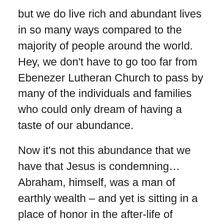but we do live rich and abundant lives in so many ways compared to the majority of people around the world.  Hey, we don't have to go too far from Ebenezer Lutheran Church to pass by many of the individuals and families who could only dream of having a taste of our abundance.
Now it's not this abundance that we have that Jesus is condemning… Abraham, himself, was a man of earthly wealth – and yet is sitting in a place of honor in the after-life of Jesus' parable.  But it is the love of this worldly wealth, status, and abundance that Jesus is warning us about.
Such love of abundance keeps us from truly seeing the humanity of others and sharing some of that abundance with others in need.
As St. John Chrysostom put it, "Not to share…